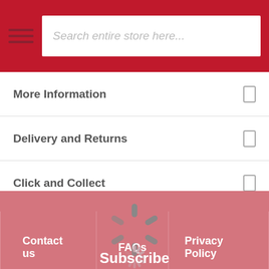Search entire store here...
More Information
Delivery and Returns
Click and Collect
[Figure (other): Loading spinner icon (large)]
Contact us | FAQs | Privacy Policy
[Figure (other): Loading spinner icon (small)]
Subscribe